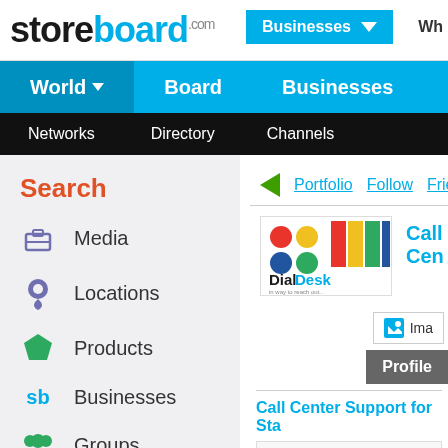[Figure (screenshot): Storeboard.com website header with logo, Businesses dropdown button, and Wh text]
storeboard.com | Businesses | Wh
World | Board | Businesses
Networks | Directory | Channels
Search
Media
Locations
Products
Businesses
Groups
Portfolio  Follow  Friend  Sha
[Figure (logo): DialDesk logo with colored dots and text]
Call Cen
Ima
Profile
Call Center Support for Sta